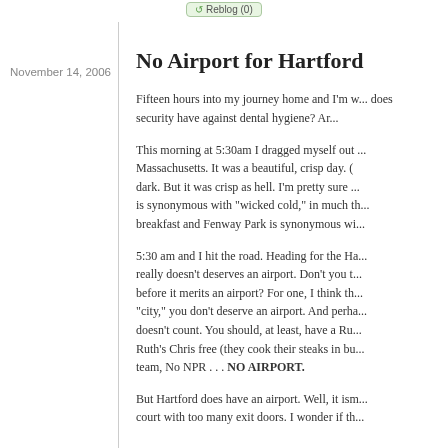Reblog (0)
November 14, 2006
No Airport for Hartford
Fifteen hours into my journey home and I'm w... does security have against dental hygiene?  Ar...
This morning at 5:30am I dragged myself out ... Massachusetts.  It was a beautiful, crisp day.  ... dark.  But it was crisp as hell.  I'm pretty sure ... is synonymous with "wicked cold," in much th... breakfast and Fenway Park is synonymous wi...
5:30 am and I hit the road.  Heading for the Ha... really doesn't deserves an airport.  Don't you t... before it merits an airport?  For one, I think th... "city," you don't deserve an airport.  And perh... doesn't count.  You should, at least, have a Ru... Ruth's Chris free (they cook their steaks in bu... team, No NPR . . . NO AIRPORT.
But Hartford does have an airport.  Well, it ism... court with too many exit doors.  I wonder if th...